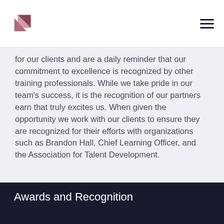[Logo] [Navigation menu icon]
for our clients and are a daily reminder that our commitment to excellence is recognized by other training professionals. While we take pride in our team's success, it is the recognition of our partners earn that truly excites us. When given the opportunity we work with our clients to ensure they are recognized for their efforts with organizations such as Brandon Hall, Chief Learning Officer, and the Association for Talent Development.
Awards and Recognition